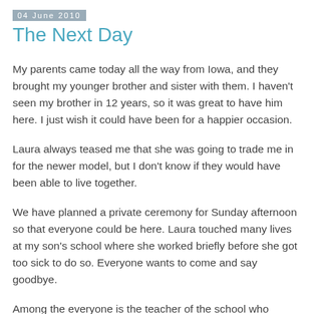04 June 2010
The Next Day
My parents came today all the way from Iowa, and they brought my younger brother and sister with them. I haven't seen my brother in 12 years, so it was great to have him here. I just wish it could have been for a happier occasion.
Laura always teased me that she was going to trade me in for the newer model, but I don't know if they would have been able to live together.
We have planned a private ceremony for Sunday afternoon so that everyone could be here. Laura touched many lives at my son's school where she worked briefly before she got too sick to do so. Everyone wants to come and say goodbye.
Among the everyone is the teacher of the school who adopted Laura as a younger sister. I don't know what I would have done without her, she has been a rock that I have been able to lean on for the past two days.